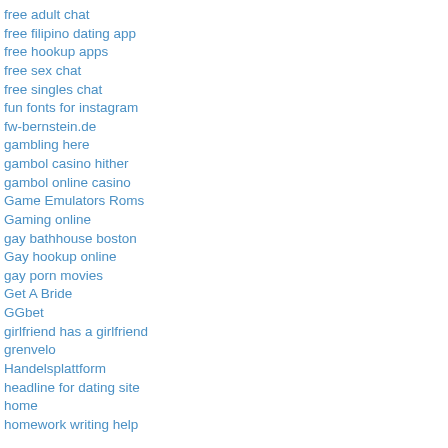free adult chat
free filipino dating app
free hookup apps
free sex chat
free singles chat
fun fonts for instagram
fw-bernstein.de
gambling here
gambol casino hither
gambol online casino
Game Emulators Roms
Gaming online
gay bathhouse boston
Gay hookup online
gay porn movies
Get A Bride
GGbet
girlfriend has a girlfriend
grenvelo
Handelsplattform
headline for dating site
home
homework writing help